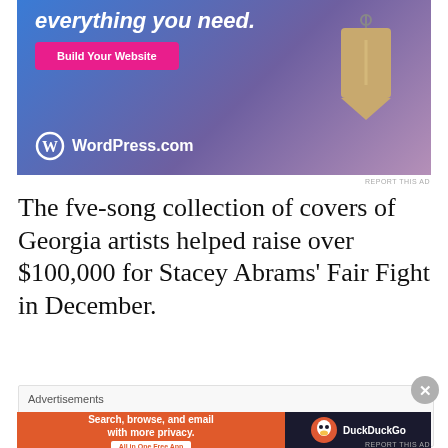[Figure (other): WordPress.com advertisement with blue-to-purple gradient background, italic text 'everything you need.', pink 'Build Your Website' button, hanging price tag graphic, and WordPress.com logo at bottom left]
REPORT THIS AD
The fve-song collection of covers of Georgia artists helped raise over $100,000 for Stacey Abrams' Fair Fight in December.
[Figure (other): DuckDuckGo advertisement: orange left panel with 'Search, browse, and email with more privacy. All in One Free App' and dark right panel with DuckDuckGo duck logo]
Advertisements
REPORT THIS AD